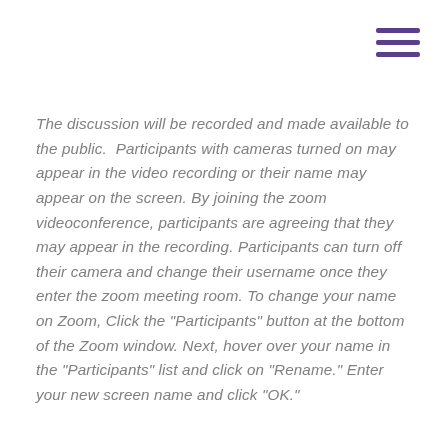[Figure (other): Hamburger menu icon with three horizontal purple lines in the top-right corner]
The discussion will be recorded and made available to the public. Participants with cameras turned on may appear in the video recording or their name may appear on the screen. By joining the zoom videoconference, participants are agreeing that they may appear in the recording. Participants can turn off their camera and change their username once they enter the zoom meeting room. To change your name on Zoom, Click the "Participants" button at the bottom of the Zoom window. Next, hover over your name in the "Participants" list and click on "Rename." Enter your new screen name and click "OK."